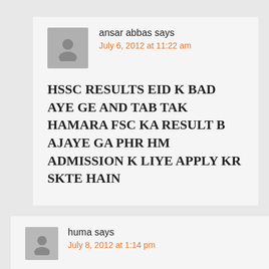ansar abbas says
July 6, 2012 at 11:22 am
HSSC RESULTS EID K BAD AYE GE AND TAB TAK HAMARA FSC KA RESULT B AJAYE GA PHR HM ADMISSION K LIYE APPLY KR SKTE HAIN
huma says
July 8, 2012 at 1:14 pm